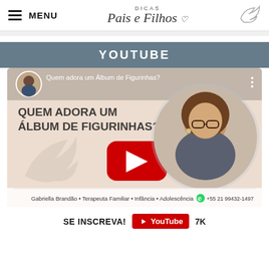MENU | Dicas Pais e Filhos
YOUTUBE
[Figure (screenshot): YouTube video thumbnail for 'Quem adora um Álbum de Figurinhas?' by Gabriella Brandão, Terapeuta Familiar, Infância, Adolescência. Contact: +55 21 99432-1497. Shows a woman with glasses and curly hair, a YouTube play button, and a bird logo watermark.]
SE INSCREVA! YouTube 7K